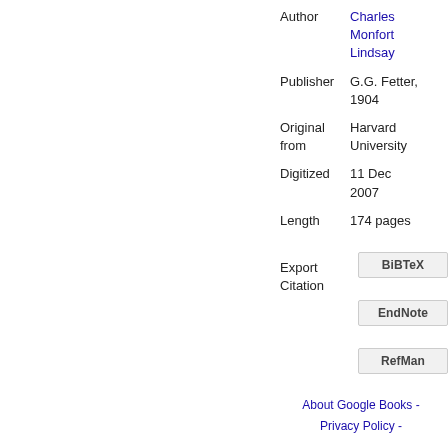| Author | Charles Monfort Lindsay |
| Publisher | G.G. Fetter, 1904 |
| Original from | Harvard University |
| Digitized | 11 Dec 2007 |
| Length | 174 pages |
Export Citation
BiBTeX
EndNote
RefMan
About Google Books - Privacy Policy -